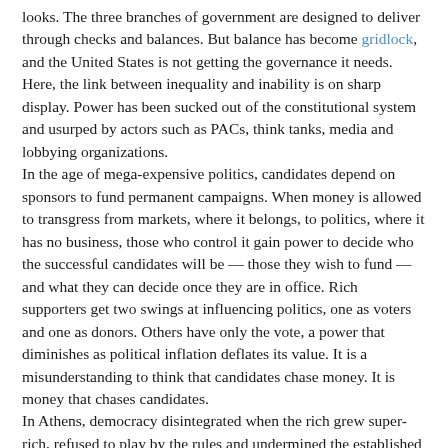looks. The three branches of government are designed to deliver through checks and balances. But balance has become gridlock, and the United States is not getting the governance it needs. Here, the link between inequality and inability is on sharp display. Power has been sucked out of the constitutional system and usurped by actors such as PACs, think tanks, media and lobbying organizations.
In the age of mega-expensive politics, candidates depend on sponsors to fund permanent campaigns. When money is allowed to transgress from markets, where it belongs, to politics, where it has no business, those who control it gain power to decide who the successful candidates will be — those they wish to fund — and what they can decide once they are in office. Rich supporters get two swings at influencing politics, one as voters and one as donors. Others have only the vote, a power that diminishes as political inflation deflates its value. It is a misunderstanding to think that candidates chase money. It is money that chases candidates.
In Athens, democracy disintegrated when the rich grew super-rich, refused to play by the rules and undermined the established system of government. That is the point that the United States and Britain have reached.
Nearly a century ago, when capitalist democracy was in a crisis not unlike the present, Roosevelt, Franklin, Justin Franklin...